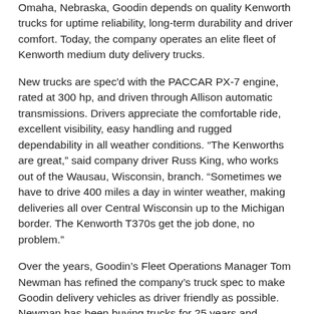Omaha, Nebraska, Goodin depends on quality Kenworth trucks for uptime reliability, long-term durability and driver comfort. Today, the company operates an elite fleet of Kenworth medium duty delivery trucks.
New trucks are spec'd with the PACCAR PX-7 engine, rated at 300 hp, and driven through Allison automatic transmissions. Drivers appreciate the comfortable ride, excellent visibility, easy handling and rugged dependability in all weather conditions. “The Kenworths are great,” said company driver Russ King, who works out of the Wausau, Wisconsin, branch. “Sometimes we have to drive 400 miles a day in winter weather, making deliveries all over Central Wisconsin up to the Michigan border. The Kenworth T370s get the job done, no problem.”
Over the years, Goodin’s Fleet Operations Manager Tom Newman has refined the company’s truck spec to make Goodin delivery vehicles as driver friendly as possible. Newman has been buying trucks for 25 years and remembers when he purchased the company’s first Kenworth. “We put one through its paces in Minnesota back then, and it did really well, so we bought one. Since then, the